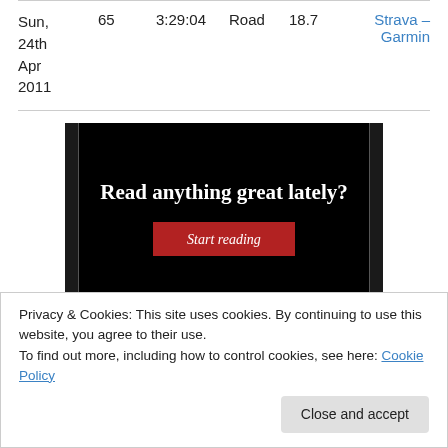| Date | Distance | Time | Type | Speed | Links |
| --- | --- | --- | --- | --- | --- |
| Sun, 24th Apr 2011 | 65 | 3:29:04 | Road | 18.7 | Strava – Garmin |
[Figure (screenshot): Advertisement banner with black background. Text reads 'Read anything great lately?' in white serif bold font, with a red 'Start reading' button below.]
Privacy & Cookies: This site uses cookies. By continuing to use this website, you agree to their use.
To find out more, including how to control cookies, see here: Cookie Policy